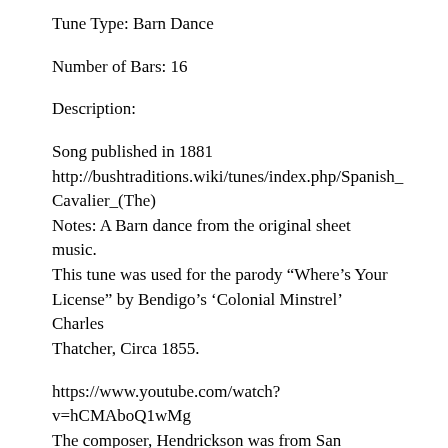Tune Type: Barn Dance
Number of Bars: 16
Description:
Song published in 1881
http://bushtraditions.wiki/tunes/index.php/Spanish_Cavalier_(The)
Notes: A Barn dance from the original sheet music. This tune was used for the parody “Where’s Your License” by Bendigo’s ‘Colonial Minstrel’ Charles Thatcher, Circa 1855.
https://www.youtube.com/watch?v=hCMAboQ1wMg
The composer, Hendrickson was from San Francisco. As a young man he joined the U.S. Navy. When his ship was laid up for some time in Panama, he deserted. There he enlisted in the Panama Army